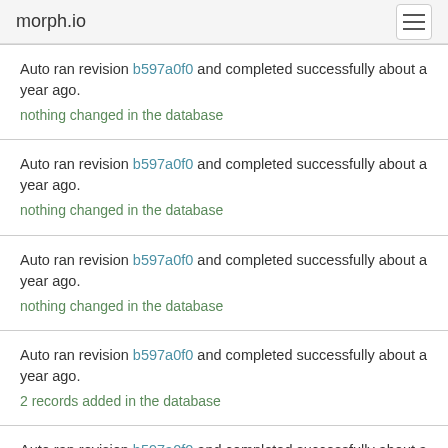morph.io
Auto ran revision b597a0f0 and completed successfully about a year ago.
nothing changed in the database
Auto ran revision b597a0f0 and completed successfully about a year ago.
nothing changed in the database
Auto ran revision b597a0f0 and completed successfully about a year ago.
nothing changed in the database
Auto ran revision b597a0f0 and completed successfully about a year ago.
2 records added in the database
Auto ran revision b597a0f0 and completed successfully about a year ago.
nothing changed in the database